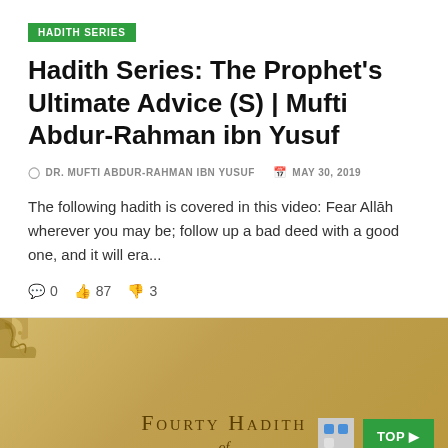HADITH SERIES
Hadith Series: The Prophet's Ultimate Advice (S) | Mufti Abdur-Rahman ibn Yusuf
DR. MUFTI ABDUR-RAHMAN IBN YUSUF   MAY 30, 2019
The following hadith is covered in this video: Fear Allāh wherever you may be; follow up a bad deed with a good one, and it will era...
0   87   3
[Figure (photo): Partial view of a book cover with parchment/tan background, golden ornamental design in the top-left corner, text 'FOURTY HADITH' in small-caps serif font, and 'of' in italic script below. A green 'TOP' button with an arrow icon overlays the bottom-right corner.]